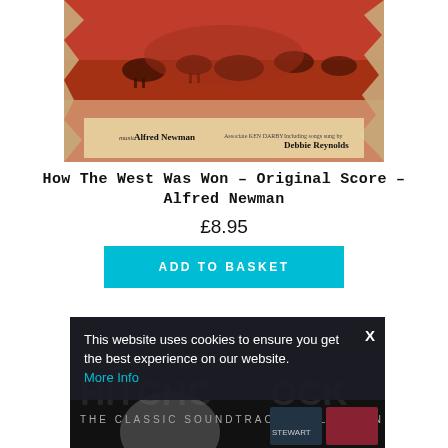[Figure (photo): Album cover for How The West Was Won - Original Score - Alfred Newman. Shows a battle scene with horses and riders in red/orange tones, with text 'music Alfred Newman' and 'Debbie Reynolds' visible at the bottom.]
How The West Was Won – Original Score – Alfred Newman
£8.95
ADD TO BASKET
[Figure (screenshot): Partially visible second product - Alfred Hitchcock The Classic Soundtrack Collection. A cookie consent banner overlays it reading: 'This website uses cookies to ensure you get the best experience on our website. More Info' with an X close button.]